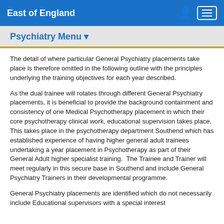East of England
Psychiatry Menu
The detail of where particular General Psychiatry placements take place is therefore omitted in the following outline with the principles underlying the training objectives for each year described.
As the dual trainee will rotates through different General Psychiatry placements, it is beneficial to provide the background containment and consistency of one Medical Psychotherapy placement in which their core psychotherapy clinical work, educational supervision takes place.  This takes place in the psychotherapy department Southend which has established experience of having higher general adult trainees undertaking a year placement in Psychotherapy as part of their General Adult higher specialist training.  The Trainee and Trainer will meet regularly in this secure base in Southend and include General Psychiatry Trainers in their developmental programme.
General Psychiatry placements are identified which do not necessarily include Educational supervisors with a special interest